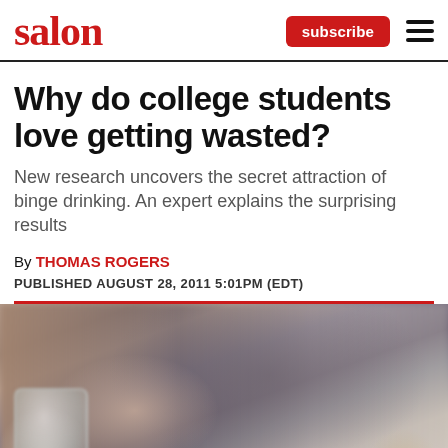salon  subscribe
Why do college students love getting wasted?
New research uncovers the secret attraction of binge drinking. An expert explains the surprising results
By THOMAS ROGERS
PUBLISHED AUGUST 28, 2011 5:01PM (EDT)
[Figure (photo): Blurred photo of a person lying with head down on a surface, with a glass in the foreground]